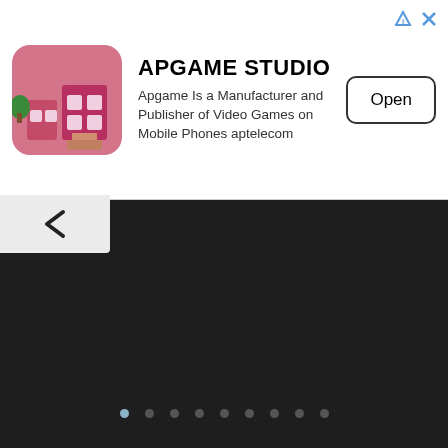[Figure (screenshot): Ad banner for APGAME STUDIO showing app icon, description text, and Open button with close/info icons in top-right corner]
APGAME STUDIO
Apgame Is a Manufacturer and Publisher of Video Games on Mobile Phones aptelecom
[Figure (screenshot): Dark background website section with back arrow button, navigation dots, horizontal divider, MODEMSOL logo in blue stylized text, ABOUT US heading, and introductory paragraph text]
ABOUT US
Modem Solution is based on several years of unlocking experience. We provide unlocking solutions for almost all